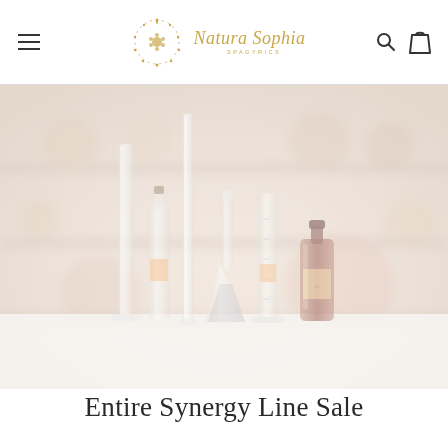Natura Sophia Spagyrics — navigation header with logo, hamburger menu, search icon, and cart icon
[Figure (photo): Hero banner photograph of lab glassware including tall cylinders, Erlenmeyer-style flasks, a measuring cylinder, and dark amber tincture bottles arranged on a white surface, with soft blurred background of shelves with apothecary jars. Image is washed out / high-key with warm beige tones.]
Entire Synergy Line Sale